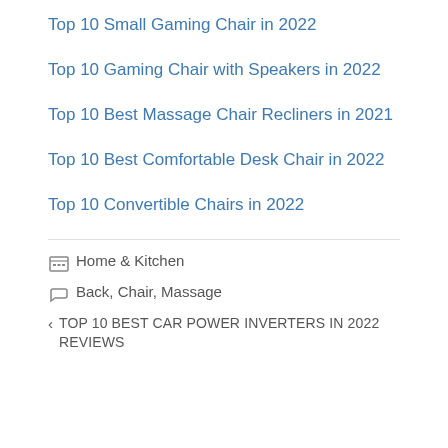Top 10 Small Gaming Chair in 2022
Top 10 Gaming Chair with Speakers in 2022
Top 10 Best Massage Chair Recliners in 2021
Top 10 Best Comfortable Desk Chair in 2022
Top 10 Convertible Chairs in 2022
Home & Kitchen
Back, Chair, Massage
TOP 10 BEST CAR POWER INVERTERS IN 2022 REVIEWS